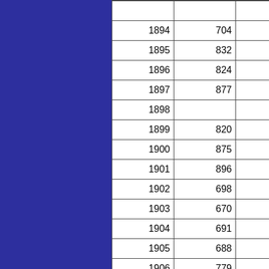| Year | Value |  |
| --- | --- | --- |
| 1894 | 704 |  |
| 1895 | 832 |  |
| 1896 | 824 |  |
| 1897 | 877 |  |
| 1898 |  |  |
| 1899 | 820 |  |
| 1900 | 875 |  |
| 1901 | 896 |  |
| 1902 | 698 |  |
| 1903 | 670 |  |
| 1904 | 691 |  |
| 1905 | 688 |  |
| 1906 | 779 |  |
| 1907 | 744 |  |
| 1908 | 672 |  |
| 1909 | 777 |  |